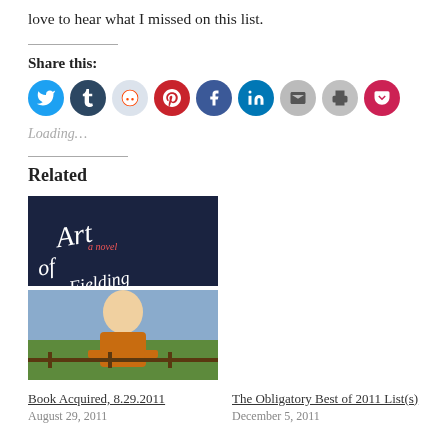love to hear what I missed on this list.
Share this:
[Figure (infographic): Row of social sharing icon buttons: Twitter (blue), Tumblr (dark blue), Reddit (light gray/blue), Pinterest (dark red), Facebook (blue), LinkedIn (teal blue), Email (gray), Print (gray), Pocket (red/pink)]
Loading…
Related
[Figure (photo): Book cover of 'The Art of Fielding' - dark navy background with stylized white italic script lettering and small red subtitle 'a novel']
[Figure (photo): Photograph of an older man in an orange shirt seated outdoors with a green and blue background and a wooden fence]
Book Acquired, 8.29.2011
August 29, 2011
The Obligatory Best of 2011 List(s)
December 5, 2011